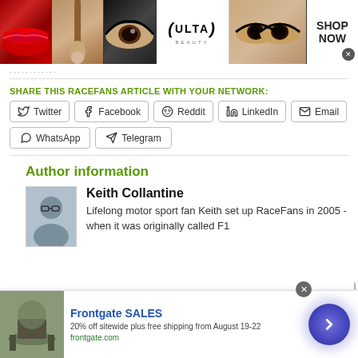[Figure (illustration): Ulta Beauty advertisement banner with cosmetics images (lips, makeup brush, eye with dark makeup, Ulta logo, eyes with dramatic makeup, Shop Now button)]
...
SHARE THIS RACEFANS ARTICLE WITH YOUR NETWORK:
Twitter
Facebook
Reddit
LinkedIn
Email
WhatsApp
Telegram
Author information
[Figure (photo): Headshot photo of Keith Collantine]
Keith Collantine
Lifelong motor sport fan Keith set up RaceFans in 2005 - when it was originally called F1
[Figure (illustration): Frontgate SALES advertisement: 20% off sitewide plus free shipping from August 19-22. frontgate.com]